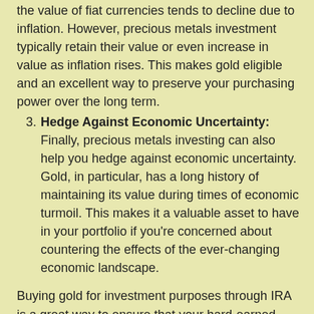the value of fiat currencies tends to decline due to inflation. However, precious metals investment typically retain their value or even increase in value as inflation rises. This makes gold eligible and an excellent way to preserve your purchasing power over the long term.
3. Hedge Against Economic Uncertainty: Finally, precious metals investing can also help you hedge against economic uncertainty. Gold, in particular, has a long history of maintaining its value during times of economic turmoil. This makes it a valuable asset to have in your portfolio if you're concerned about countering the effects of the ever-changing economic landscape.
Buying gold for investment purposes through IRA is a great way to ensure that your hard-earned money is protected during retirement. By following these